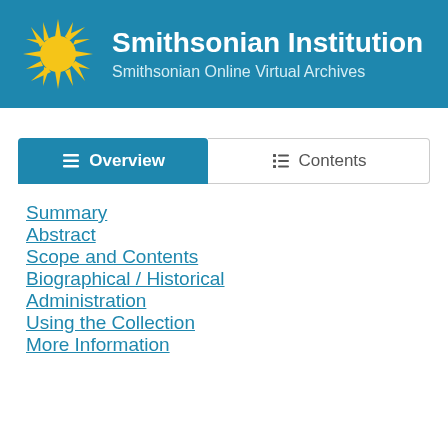Smithsonian Institution — Smithsonian Online Virtual Archives
Overview
Contents
Summary
Abstract
Scope and Contents
Biographical / Historical
Administration
Using the Collection
More Information